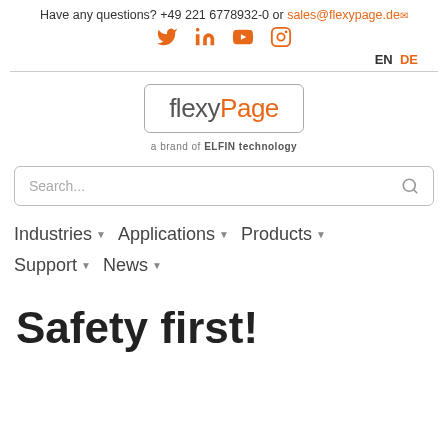Have any questions? +49 221 6778932-0 or sales@flexypage.de
[Figure (logo): flexyPage logo with border, subtitle 'a brand of ELFIN technology']
Search...
Industries ▾   Applications ▾   Products ▾
Support ▾   News ▾
Safety first!